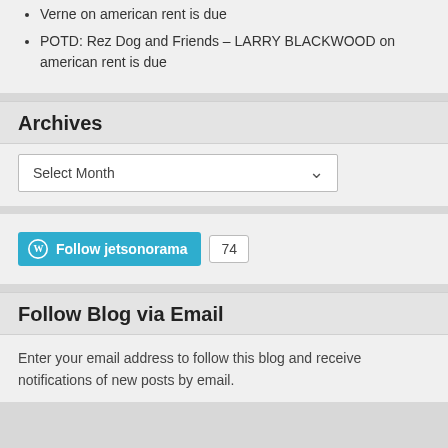Verne on american rent is due
POTD: Rez Dog and Friends – LARRY BLACKWOOD on american rent is due
Archives
Select Month
[Figure (screenshot): WordPress Follow button for jetsonorama with follower count of 74]
Follow Blog via Email
Enter your email address to follow this blog and receive notifications of new posts by email.